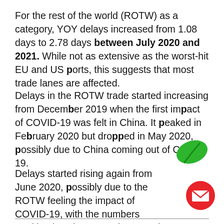For the rest of the world (ROTW) as a category, YOY delays increased from 1.08 days to 2.78 days between July 2020 and 2021. While not as extensive as the worst-hit EU and US ports, this suggests that most trade lanes are affected.
Delays in the ROTW trade started increasing from December 2019 when the first impact of COVID-19 was felt in China. It peaked in February 2020 but dropped in May 2020, possibly due to China coming out of COVID-19.
Delays started rising again from June 2020, possibly due to the ROTW feeling the impact of COVID-19, with the numbers peaking in July 2021. It is currently at its highest level since August 2019.